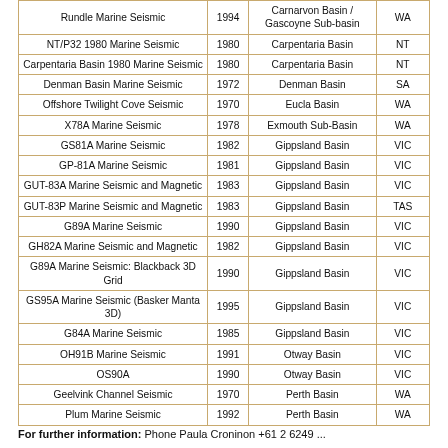| Survey Name | Year | Basin | State |
| --- | --- | --- | --- |
| Rundle Marine Seismic | 1994 | Carnarvon Basin / Gascoyne Sub-basin | WA |
| NT/P32 1980 Marine Seismic | 1980 | Carpentaria Basin | NT |
| Carpentaria Basin 1980 Marine Seismic | 1980 | Carpentaria Basin | NT |
| Denman Basin Marine Seismic | 1972 | Denman Basin | SA |
| Offshore Twilight Cove Seismic | 1970 | Eucla Basin | WA |
| X78A Marine Seismic | 1978 | Exmouth Sub-Basin | WA |
| GS81A Marine Seismic | 1982 | Gippsland Basin | VIC |
| GP-81A Marine Seismic | 1981 | Gippsland Basin | VIC |
| GUT-83A Marine Seismic and Magnetic | 1983 | Gippsland Basin | VIC |
| GUT-83P Marine Seismic and Magnetic | 1983 | Gippsland Basin | TAS |
| G89A Marine Seismic | 1990 | Gippsland Basin | VIC |
| GH82A Marine Seismic and Magnetic | 1982 | Gippsland Basin | VIC |
| G89A Marine Seismic: Blackback 3D Grid | 1990 | Gippsland Basin | VIC |
| GS95A Marine Seismic (Basker Manta 3D) | 1995 | Gippsland Basin | VIC |
| G84A Marine Seismic | 1985 | Gippsland Basin | VIC |
| OH91B Marine Seismic | 1991 | Otway Basin | VIC |
| OS90A | 1990 | Otway Basin | VIC |
| Geelvink Channel Seismic | 1970 | Perth Basin | WA |
| Plum Marine Seismic | 1992 | Perth Basin | WA |
For further information: Phone Paula Croninon +61 2 6249 ...